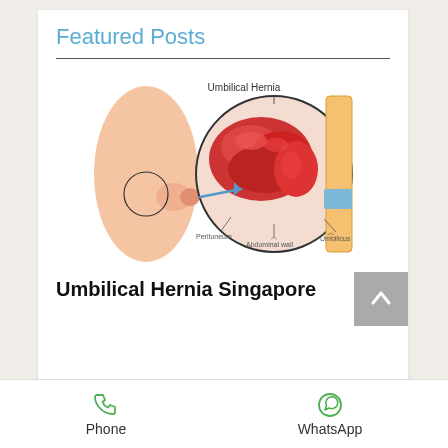Featured Posts
[Figure (illustration): Medical illustration of an umbilical hernia showing a side view of a torso with a protruding navel, and a magnified circular inset diagram labeling the Umbilical Hernia, Peritoneum, Abdominal wall, and Umbilicus with anatomical detail of bowel protruding through the abdominal wall.]
Umbilical Hernia Singapore